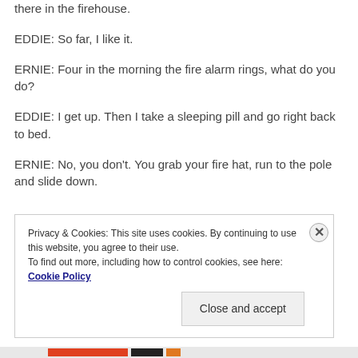there in the firehouse.
EDDIE: So far, I like it.
ERNIE: Four in the morning the fire alarm rings, what do you do?
EDDIE: I get up. Then I take a sleeping pill and go right back to bed.
ERNIE: No, you don't. You grab your fire hat, run to the pole and slide down.
Privacy & Cookies: This site uses cookies. By continuing to use this website, you agree to their use. To find out more, including how to control cookies, see here: Cookie Policy
Close and accept